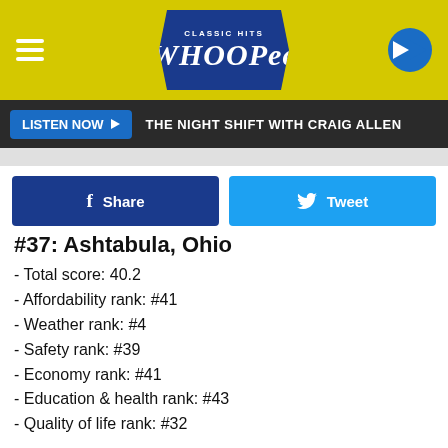[Figure (logo): Whoopee Classic Hits radio station logo with yellow header, hamburger menu, and play button]
LISTEN NOW ▶  THE NIGHT SHIFT WITH CRAIG ALLEN
Share   Tweet
#37: Ashtabula, Ohio
- Total score: 40.2
- Affordability rank: #41
- Weather rank: #4
- Safety rank: #39
- Economy rank: #41
- Education & health rank: #43
- Quality of life rank: #32
Ashtabula, situated to Cleveland's northeast, lies on the edge of Lake Erie and at the mouth of the Ashtabula River. Once a critical part of the Underground Railroad, the city has since